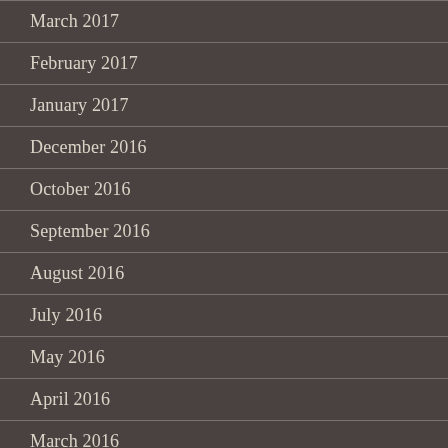March 2017
February 2017
January 2017
December 2016
October 2016
September 2016
August 2016
July 2016
May 2016
April 2016
March 2016